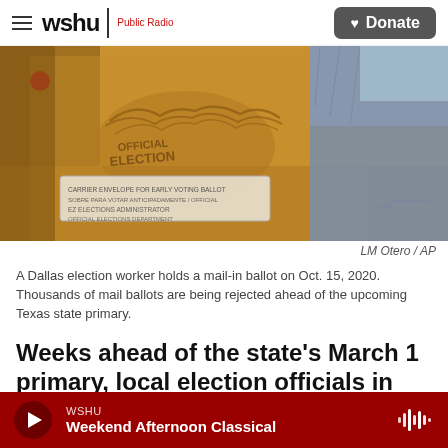wshu | Public Radio  [Donate button]
[Figure (photo): Close-up photo of an official election ballot envelope being held by a person wearing a blue denim jacket and a blue face mask. The golden/tan envelope shows 'OFFICIAL ELECTION' text with an eagle watermark.]
LM Otero / AP
A Dallas election worker holds a mail-in ballot on Oct. 15, 2020. Thousands of mail ballots are being rejected ahead of the upcoming Texas state primary.
Weeks ahead of the state's March 1 primary, local election officials in Texas are sending mail-in
WSHU  Weekend Afternoon Classical